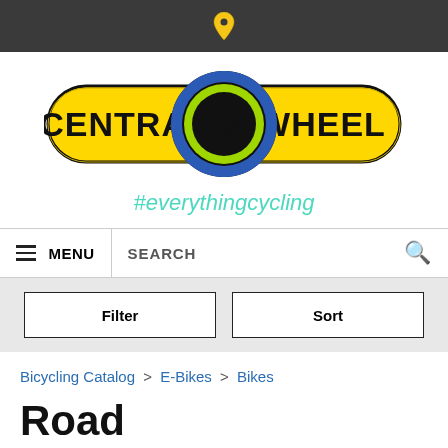Location pin icon (top bar)
[Figure (logo): Central Wheel bicycle shop logo: yellow pill-shaped background with 'CENTRAL WHEEL' text and a circular CW emblem in the center with blue and green rings]
#everythingcycling
≡ MENU   SEARCH 🔍
Filter   Sort
Bicycling Catalog > E-Bikes > Bikes
Road